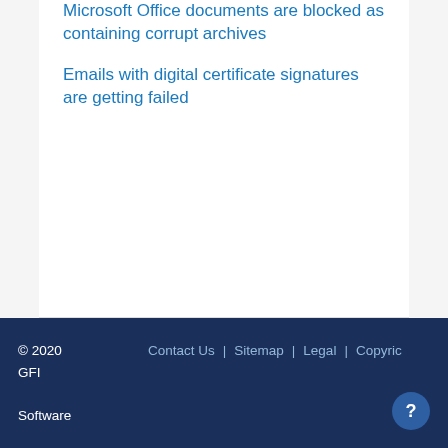Microsoft Office documents are blocked as containing corrupt archives
Emails with digital certificate signatures are getting failed
© 2020 GFI Software  |  Contact Us  |  Sitemap  |  Legal  |  Copyright